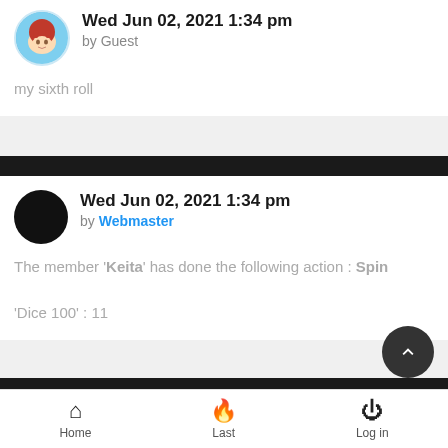Wed Jun 02, 2021 1:34 pm by Guest
my sixth roll
Wed Jun 02, 2021 1:34 pm by Webmaster
The member 'Keita' has done the following action : Spin
'Dice 100' : 11
Mon Jun 07, 2021 9:02 pm by Guest
Home  Last  Log in